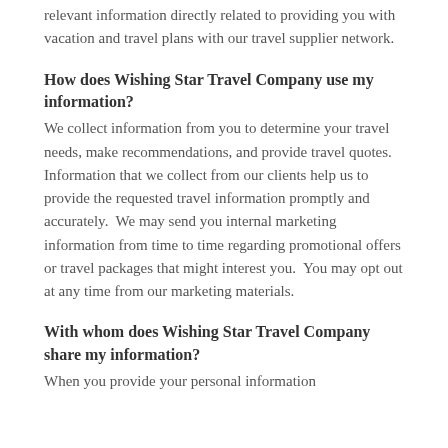relevant information directly related to providing you with vacation and travel plans with our travel supplier network.
How does Wishing Star Travel Company use my information?
We collect information from you to determine your travel needs, make recommendations, and provide travel quotes. Information that we collect from our clients help us to provide the requested travel information promptly and accurately.  We may send you internal marketing information from time to time regarding promotional offers or travel packages that might interest you.  You may opt out at any time from our marketing materials.
With whom does Wishing Star Travel Company share my information?
When you provide your personal information